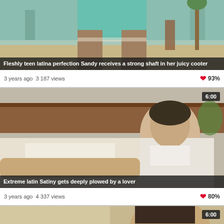[Figure (photo): Video thumbnail showing a woman in teal shorts from behind on a beach/outdoor setting]
Fleshly teen latina perfection Sandy receives a strong shaft in her juicy cooter
3 years ago  3 187 views  93%
[Figure (photo): Video thumbnail showing a man in a white shirt lying on a bed, duration badge 6:00]
Extreme latin Satiny gets deeply plowed by a lover
3 years ago  4 337 views  80%
[Figure (photo): Video thumbnail partially visible at bottom, duration badge 6:00]